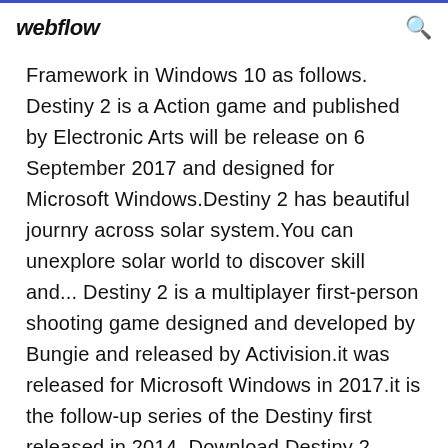webflow
Framework in Windows 10 as follows. Destiny 2 is a Action game and published by Electronic Arts will be release on 6 September 2017 and designed for Microsoft Windows.Destiny 2 has beautiful journry across solar system.You can unexplore solar world to discover skill and... Destiny 2 is a multiplayer first-person shooting game designed and developed by Bungie and released by Activision.it was released for Microsoft Windows in 2017.it is the follow-up series of the Destiny first released in 2014. Download Destiny 2 crack for free here! Destiny 2 download links always updated and working! Destiny 2 Download Free links can be found on the...Download Destiny 2 game for PC...